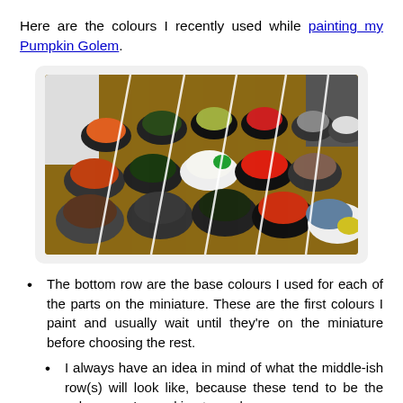Here are the colours I recently used while painting my Pumpkin Golem.
[Figure (photo): Multiple paint jars arranged in rows photographed from above, showing various colours including orange, green, red, white, brown, black and grey paints]
The bottom row are the base colours I used for each of the parts on the miniature. These are the first colours I paint and usually wait until they're on the miniature before choosing the rest.
I always have an idea in mind of what the middle-ish row(s) will look like, because these tend to be the colours you're working towards.